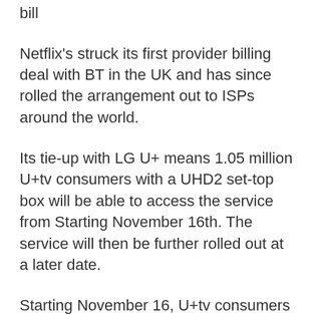bill
Netflix's struck its first provider billing deal with BT in the UK and has since rolled the arrangement out to ISPs around the world.
Its tie-up with LG U+ means 1.05 million U+tv consumers with a UHD2 set-top box will be able to access the service from Starting November 16th. The service will then be further rolled out at a later date.
Starting November 16, U+tv consumers will be able to access the service with a push of the Netflix button on their LG U+ remote control or U+tv's home menu.